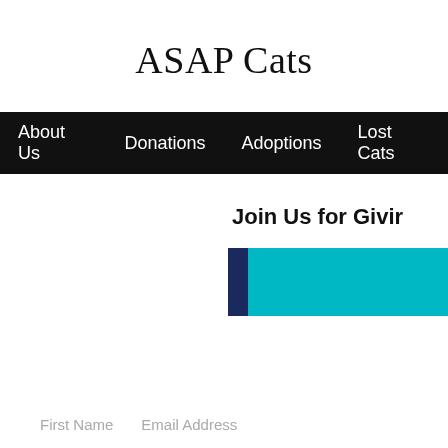ASAP Cats
About Us  Donations  Adoptions  Lost Cats
Join Us for Givin
[Figure (other): A decorative banner block with a dark navy left strip and teal right section]
First Name   Email Address
No events